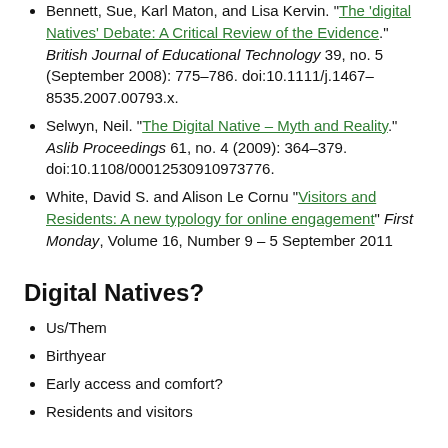Bennett, Sue, Karl Maton, and Lisa Kervin. "The 'digital Natives' Debate: A Critical Review of the Evidence." British Journal of Educational Technology 39, no. 5 (September 2008): 775–786. doi:10.1111/j.1467–8535.2007.00793.x.
Selwyn, Neil. "The Digital Native – Myth and Reality." Aslib Proceedings 61, no. 4 (2009): 364–379. doi:10.1108/00012530910973776.
White, David S. and Alison Le Cornu "Visitors and Residents: A new typology for online engagement" First Monday, Volume 16, Number 9 – 5 September 2011
Digital Natives?
Us/Them
Birthyear
Early access and comfort?
Residents and visitors